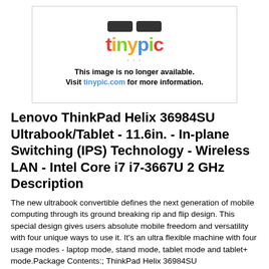[Figure (other): Tinypic placeholder image showing 'This image is no longer available. Visit tinypic.com for more information.']
Lenovo ThinkPad Helix 36984SU Ultrabook/Tablet - 11.6in. - In-plane Switching (IPS) Technology - Wireless LAN - Intel Core i7 i7-3667U 2 GHz Description
The new ultrabook convertible defines the next generation of mobile computing through its ground breaking rip and flip design. This special design gives users absolute mobile freedom and versatility with four unique ways to use it. It's an ultra flexible machine with four usage modes - laptop mode, stand mode, tablet mode and tablet+ mode.Package Contents:; ThinkPad Helix 36984SU Ultrabook/Tablet; 2 x Lithium Polymer Batteries; AC Adapter; Stylus; Lenovo ThinkPad Helix 36984SU...